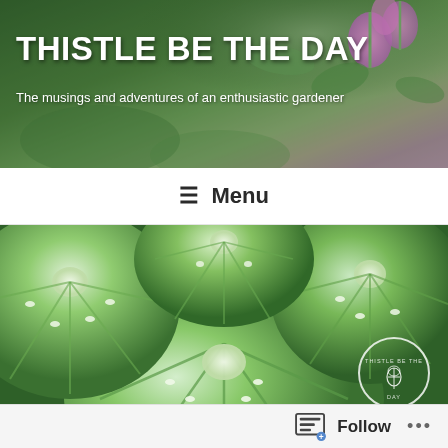THISTLE BE THE DAY
The musings and adventures of an enthusiastic gardener
≡  Menu
[Figure (photo): Close-up photograph of sliced green tomatoes arranged together, showing cross-sections with seeds and internal structure. A circular watermark logo with a thistle illustration is visible in the bottom right corner.]
OCTOBER 4, 2020 BY DAWN MURRAY
Follow  •••